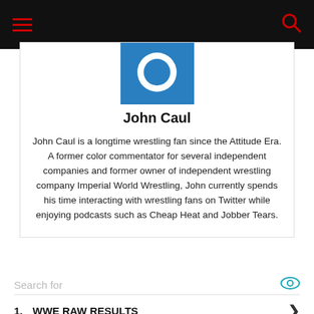Navigation bar with hamburger menu and search icon
[Figure (illustration): User avatar icon — white circular silhouette on blue background]
John Caul
John Caul is a longtime wrestling fan since the Attitude Era. A former color commentator for several independent companies and former owner of independent wrestling company Imperial World Wrestling, John currently spends his time interacting with wrestling fans on Twitter while enjoying podcasts such as Cheap Heat and Jobber Tears.
Search for
1. WWE RAW RESULTS
2. WWE WRESTLING FIGURES